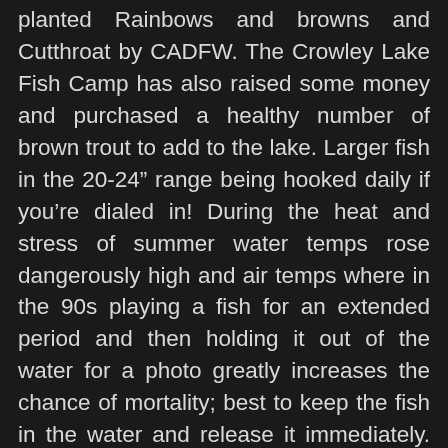planted Rainbows and browns and Cutthroat by CADFW. The Crowley Lake Fish Camp has also raised some money and purchased a healthy number of brown trout to add to the lake. Larger fish in the 20-24” range being hooked daily if you’re dialed in! During the heat and stress of summer water temps rose dangerously high and air temps where in the 90s playing a fish for an extended period and then holding it out of the water for a photo greatly increases the chance of mortality; best to keep the fish in the water and release it immediately. You may see the fish swim off strongly but they soon lie on their side trying to regain their strength in the warm water and some don’t make it! There’s never any evidence as the